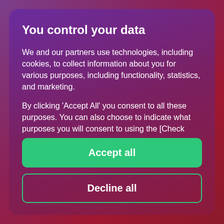You control your data
We and our partners use technologies, including cookies, to collect information about you for various purposes, including functionality, statistics, and marketing.
By clicking 'Accept All' you consent to all these purposes. You can also choose to indicate what purposes you will consent to using the [Check
Accept all
Decline all